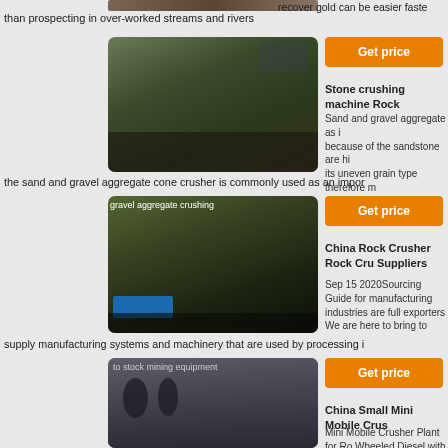[Figure (photo): Top cropped image of mining/industrial equipment]
recover gold can be easier faste than prospecting in over-worked streams and rivers
[Figure (photo): Stone crushing machine at a quarry site with workers]
Get price
Stone crushing machine Rock
Sand and gravel aggregate as i because of the sandstone are hi its uneven grain type therefore m size can be put into production p
the sand and gravel aggregate cone crusher is commonly used as an impor
[Figure (photo): Gravel aggregate crushing — quarry with trucks and excavators]
Get price
China Rock Crusher Rock Cru Suppliers
Sep 15 2020Sourcing Guide for manufacturing industries are full exporters We are here to bring to
supply manufacturing systems and machinery that are used by processing i
[Figure (photo): China Small Mini Mobile Crusher plant interior — industrial warehouse with machinery]
Get price
China Small Mini Mobile Crus
Mini Mobile Crusher Plant for Ro Wheeled Diesel with Low Cost